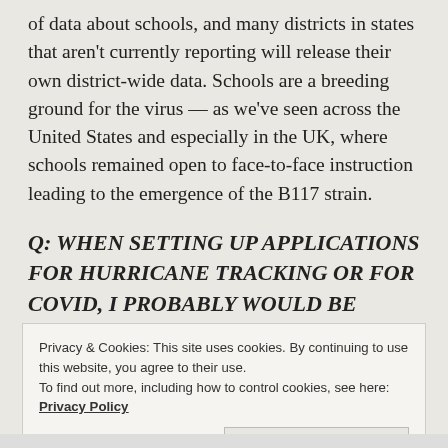of data about schools, and many districts in states that aren't currently reporting will release their own district-wide data. Schools are a breeding ground for the virus — as we've seen across the United States and especially in the UK, where schools remained open to face-to-face instruction leading to the emergence of the B117 strain.
Q: WHEN SETTING UP APPLICATIONS FOR HURRICANE TRACKING OR FOR COVID, I PROBABLY WOULD BE CONCERNED ABOUT GETTING THE DATA RIGHT AND THEN
Privacy & Cookies: This site uses cookies. By continuing to use this website, you agree to their use.
To find out more, including how to control cookies, see here: Privacy Policy
Close and accept